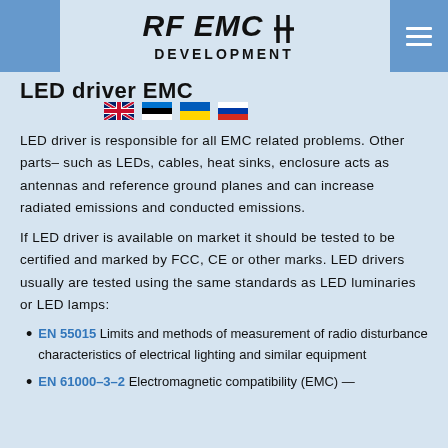RF EMC DEVELOPMENT
LED driver EMC
LED driver is responsible for all EMC related problems. Other parts– such as LEDs, cables, heat sinks, enclosure acts as antennas and reference ground planes and can increase radiated emissions and conducted emissions.
If LED driver is available on market it should be tested to be certified and marked by FCC, CE or other marks. LED drivers usually are tested using the same standards as LED luminaries or LED lamps:
EN 55015 Limits and methods of measurement of radio disturbance characteristics of electrical lighting and similar equipment
EN 61000-3-2 Electromagnetic compatibility (EMC) —